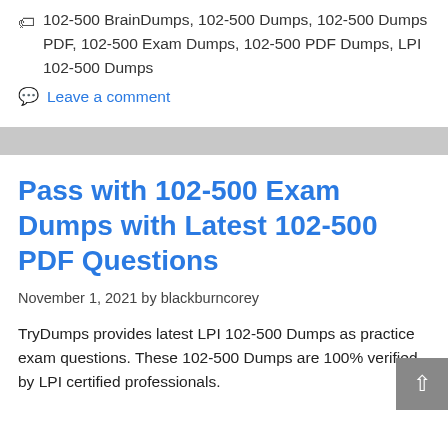🏷 102-500 BrainDumps, 102-500 Dumps, 102-500 Dumps PDF, 102-500 Exam Dumps, 102-500 PDF Dumps, LPI 102-500 Dumps
💬 Leave a comment
Pass with 102-500 Exam Dumps with Latest 102-500 PDF Questions
November 1, 2021 by blackburncorey
TryDumps provides latest LPI 102-500 Dumps as practice exam questions. These 102-500 Dumps are 100% verified by LPI certified professionals.